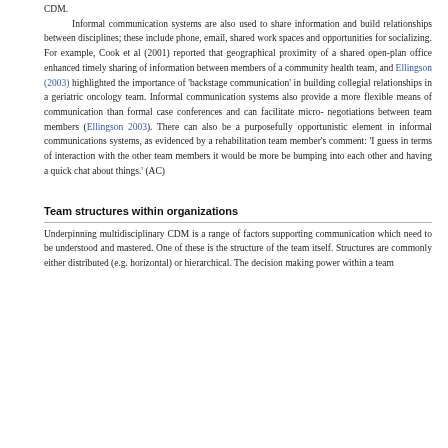CDM. Informal communication systems are also used to share information and build relationships between disciplines; these include phone, email, shared work spaces and opportunities for socializing. For example, Cook et al (2001) reported that geographical proximity of a shared open-plan office enhanced timely sharing of information between members of a community health team, and Ellingson (2003) highlighted the importance of 'backstage communication' in building collegial relationships in a geriatric oncology team. Informal communication systems also provide a more flexible means of communication than formal case conferences and can facilitate micro-negotiations between team members (Ellingson 2003). There can also be a purposefully opportunistic element in informal communications systems, as evidenced by a rehabilitation team member's comment: 'I guess in terms of interaction with the other team members it would be more be bumping into each other and having a quick chat about things.' (AC)
Team structures within organizations
Underpinning multidisciplinary CDM is a range of factors supporting communication which need to be understood and mastered. One of these is the structure of the team itself. Structures are commonly either distributed (e.g. horizontal) or hierarchical. The decision making power within a team